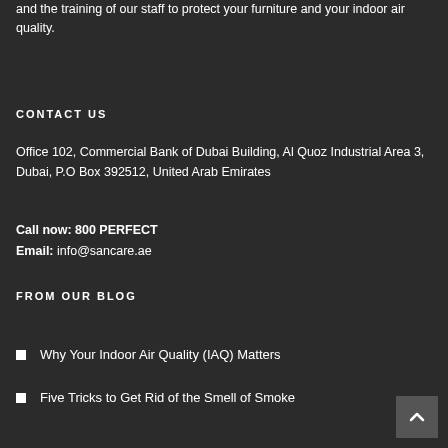and the training of our staff to protect your furniture and your indoor air quality.
CONTACT US
Office 102, Commercial Bank of Dubai Building, Al Quoz Industrial Area 3,
Dubai, P.O Box 392512, United Arab Emirates
Call now: 800 PERFECT
Email: info@sancare.ae
FROM OUR BLOG
Why Your Indoor Air Quality (IAQ) Matters
Five Tricks to Get Rid of the Smell of Smoke